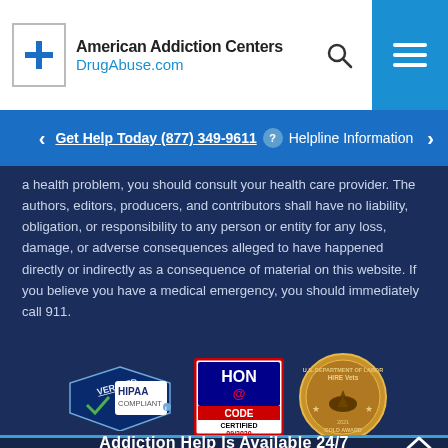[Figure (logo): American Addiction Centers DrugAbuse.com logo with blue cross icon, search icon, and hamburger menu button]
Get Help Today (877) 349-9611 ? Helpline Information
a health problem, you should consult your health care provider. The authors, editors, producers, and contributors shall have no liability, obligation, or responsibility to any person or entity for any loss, damage, or adverse consequences alleged to have happened directly or indirectly as a consequence of material on this website. If you believe you have a medical emergency, you should immediately call 911.
[Figure (logo): Three certification badges: HIPAA Verified Compliant badge, HON Code Certified 09/2020 badge, and U.S. Department of Labor HIRE Vets 2021 Gold Award medallion]
Addiction Help Is Available 24/7